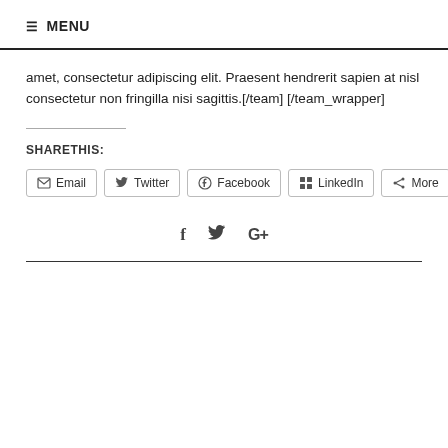≡ MENU
amet, consectetur adipiscing elit. Praesent hendrerit sapien at nisl consectetur non fringilla nisi sagittis.[/team] [/team_wrapper]
SHARETHIS:
Email  Twitter  Facebook  LinkedIn  More
[Figure (other): Social media icon links: Facebook, Twitter, Google+]